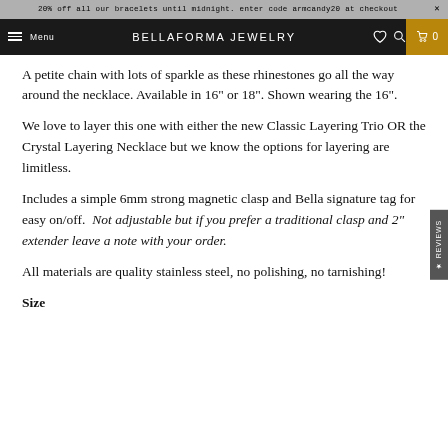20% off all our bracelets until midnight. enter code armcandy20 at checkout
Menu  BELLAFORMA JEWELRY  0
A petite chain with lots of sparkle as these rhinestones go all the way around the necklace. Available in 16" or 18". Shown wearing the 16".
We love to layer this one with either the new Classic Layering Trio OR the Crystal Layering Necklace but we know the options for layering are limitless.
Includes a simple 6mm strong magnetic clasp and Bella signature tag for easy on/off.  Not adjustable but if you prefer a traditional clasp and 2" extender leave a note with your order.
All materials are quality stainless steel, no polishing, no tarnishing!
Size